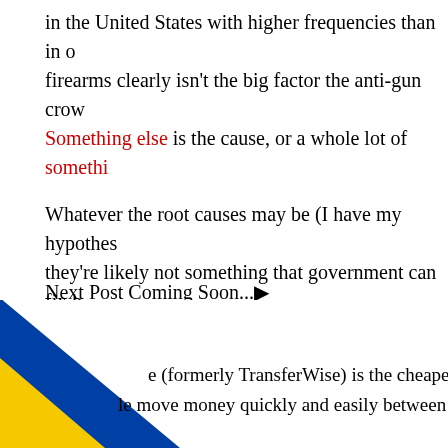in the United States with higher frequencies than in o... firearms clearly isn't the big factor the anti-gun crow... Something else is the cause, or a whole lot of somethi...
Whatever the root causes may be (I have my hypothes... they're likely not something that government can fix b... probably going to have to roll up our sleeves, stow our... fix the root causes of these horrific actions.
Next Post Coming Soon...▶
[Figure (illustration): Diagonal blue and yellow/gold stripes (Wise/TransferWise branding) in the bottom-left corner, with partial advertising text: 'e (formerly TransferWise) is the cheaper, easier wa... le move money quickly and easily between bank...']